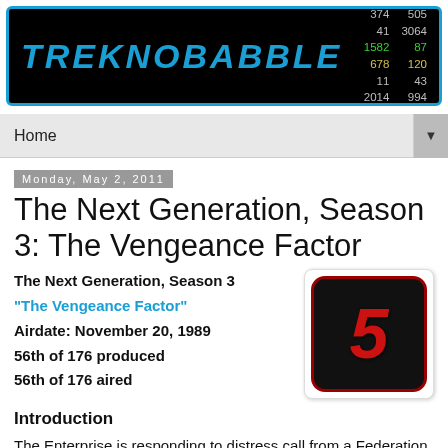TREKNOBABBLE — 374 505 41 3064 1582 87 678 120 11 43 2014 994
Home
Monday, May 2, 2011
The Next Generation, Season 3: The Vengeance Factor
The Next Generation, Season 3 "The Vengeance Factor" Airdate: November 20, 1989 56th of 176 produced 56th of 176 aired
[Figure (illustration): App icon showing a red number 5 on a black rounded square background with red border]
Introduction
The Enterprise is responding to distress call from a Federation outpost. They find a group of nomadic thieves